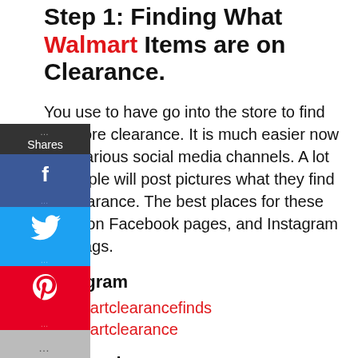Step 1: Finding What Walmart Items are on Clearance.
You use to have go into the store to find the store clearance. It is much easier now with various social media channels. A lot of people will post pictures what they find on clearance. The best places for these posts on Facebook pages, and Instagram hashtags.
Instagram
#walmartclearancefinds
#walmartclearance
Facebook
Walmart Clearance Finders Group
Step 2: Finding the clearance items SKU on Walmart.com (If the SKU is